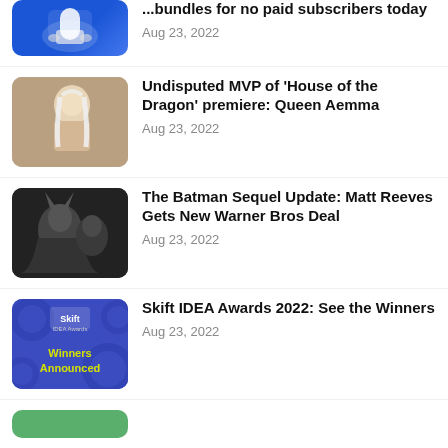...bundles for no paid subscribers today — Aug 23, 2022
Undisputed MVP of 'House of the Dragon' premiere: Queen Aemma — Aug 23, 2022
The Batman Sequel Update: Matt Reeves Gets New Warner Bros Deal — Aug 23, 2022
Skift IDEA Awards 2022: See the Winners — Aug 23, 2022